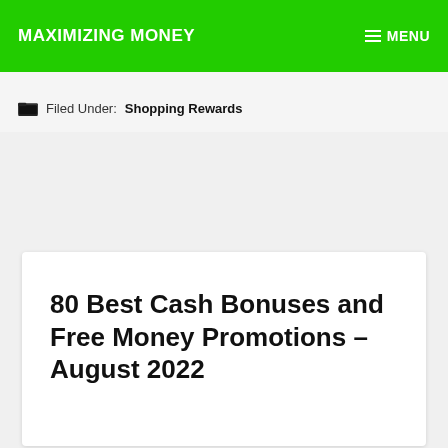MAXIMIZING MONEY  MENU
Filed Under: Shopping Rewards
80 Best Cash Bonuses and Free Money Promotions – August 2022